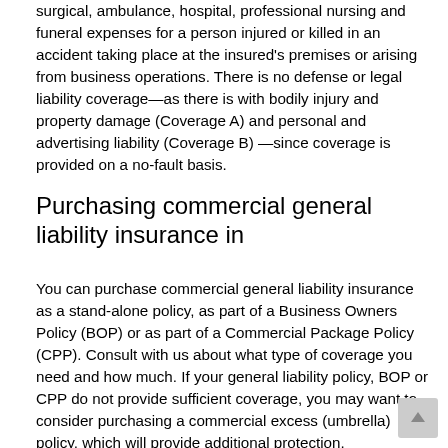surgical, ambulance, hospital, professional nursing and funeral expenses for a person injured or killed in an accident taking place at the insured's premises or arising from business operations. There is no defense or legal liability coverage—as there is with bodily injury and property damage (Coverage A) and personal and advertising liability (Coverage B) —since coverage is provided on a no-fault basis.
Purchasing commercial general liability insurance in
You can purchase commercial general liability insurance as a stand-alone policy, as part of a Business Owners Policy (BOP) or as part of a Commercial Package Policy (CPP). Consult with us about what type of coverage you need and how much. If your general liability policy, BOP or CPP do not provide sufficient coverage, you may want to consider purchasing a commercial excess (umbrella) policy, which will provide additional protection.